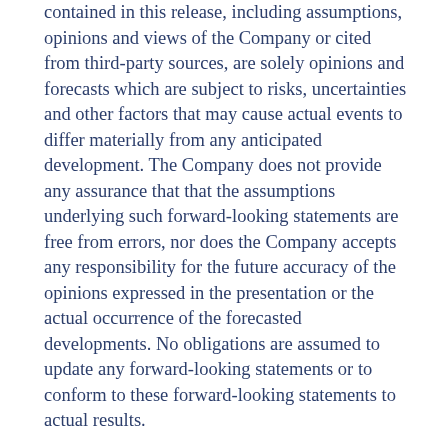contained in this release, including assumptions, opinions and views of the Company or cited from third-party sources, are solely opinions and forecasts which are subject to risks, uncertainties and other factors that may cause actual events to differ materially from any anticipated development. The Company does not provide any assurance that that the assumptions underlying such forward-looking statements are free from errors, nor does the Company accepts any responsibility for the future accuracy of the opinions expressed in the presentation or the actual occurrence of the forecasted developments. No obligations are assumed to update any forward-looking statements or to conform to these forward-looking statements to actual results.
This information is subject to the disclosure requirements pursuant to section 5-12 of the Norwegian Securities Trading Act or the continuing obligations of Oslo Børs.